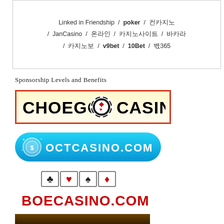Linked in Friendship / poker / 카지노 / JanCasino / 온라인 / 카지노사이트 / 바카라 / 카지노쿠폰 / v9bet / 10Bet / 벳365
Sponsorship Levels and Benefits
[Figure (logo): CHOEGO CASINO logo with poker chip in center, black text, red/orange border]
[Figure (logo): OCTCASINO.COM logo on blue rounded background with white text]
[Figure (logo): BOECASINO.COM logo with playing card suits icons above red bold text]
[Figure (logo): CASINO SHOOTER logo on dark gold/brown background]